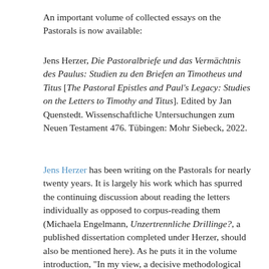An important volume of collected essays on the Pastorals is now available:
Jens Herzer, Die Pastoralbriefe und das Vermächtnis des Paulus: Studien zu den Briefen an Timotheus und Titus [The Pastoral Epistles and Paul's Legacy: Studies on the Letters to Timothy and Titus]. Edited by Jan Quenstedt. Wissenschaftliche Untersuchungen zum Neuen Testament 476. Tübingen: Mohr Siebeck, 2022.
Jens Herzer has been writing on the Pastorals for nearly twenty years. It is largely his work which has spurred the continuing discussion about reading the letters individually as opposed to corpus-reading them (Michaela Engelmann, Unzertrennliche Drillinge?, a published dissertation completed under Herzer, should also be mentioned here). As he puts it in the volume introduction, "In my view, a decisive methodological